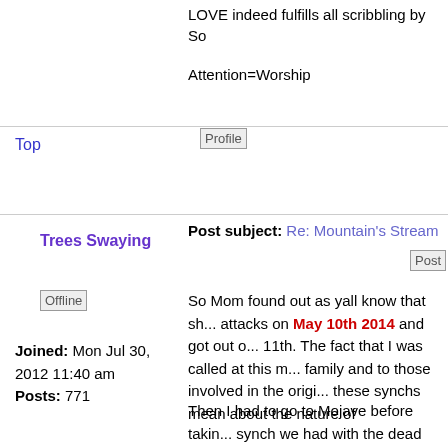LOVE indeed fulfills all scribbling by So
Attention=Worship
Top
[Figure (other): Profile button image]
Post subject: Re: Mountain's Stream
[Figure (other): Post icon image]
Trees Swaying
[Figure (other): Offline status image]
Joined: Mon Jul 30, 2012 11:40 am
Posts: 771
So Mom found out as yall know that sh... attacks on May 10th 2014 and got out o... 11th. The fact that I was called at this m... family and to those involved in the origi... these synchs mean about the nature of
Then I had to go to Mojave before takin... synch we had with the dead owl in the ... and it turns out it was a synch posted e... http://www.stephantroc.com/owl/owl1...